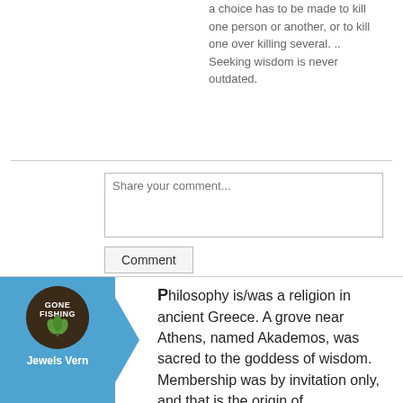a choice has to be made to kill one person or another, or to kill one over killing several. .. Seeking wisdom is never outdated.
Share your comment...
Comment
[Figure (illustration): Circular avatar with 'Gone Fishing' text and a plant/cannabis leaf icon on a dark brown background]
Jewels Vern
Philosophy is/was a religion in ancient Greece. A grove near Athens, named Akademos, was sacred to the goddess of wisdom. Membership was by invitation only, and that is the origin of